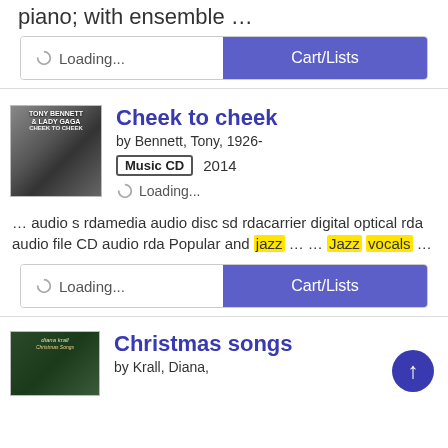piano; with ensemble …
Loading...
Cart/Lists
Cheek to cheek
by Bennett, Tony, 1926-
Music CD  2014
Loading...
… audio s rdamedia audio disc sd rdacarrier digital optical rda audio file CD audio rda Popular and jazz … … Jazz vocals …
Loading...
Cart/Lists
Christmas songs
by Krall, Diana,